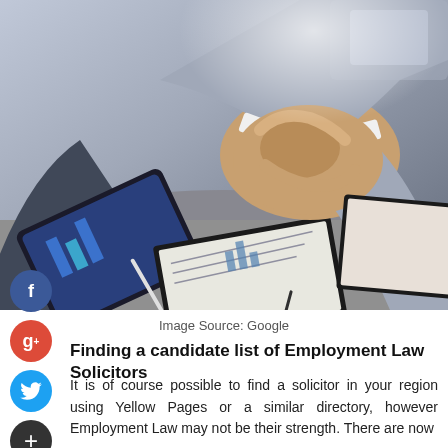[Figure (photo): Two business people shaking hands over a desk with documents and a tablet; a third person points at a tablet screen in the foreground]
Image Source: Google
Finding a candidate list of Employment Law Solicitors
It is of course possible to find a solicitor in your region using Yellow Pages or a similar directory, however Employment Law may not be their strength. There are now